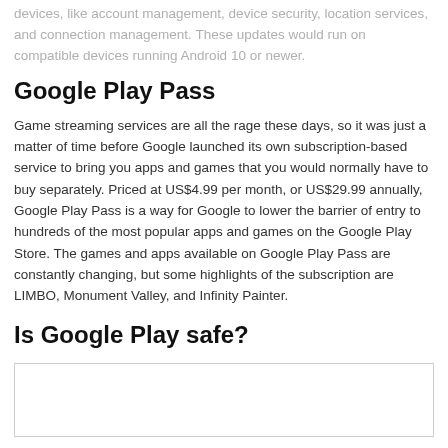devices, like account management, device security, location services, and connection management. These updates would run on compatible devices running Android 10 or newer.
Google Play Pass
Game streaming services are all the rage these days, so it was just a matter of time before Google launched its own subscription-based service to bring you apps and games that you would normally have to buy separately. Priced at US$4.99 per month, or US$29.99 annually, Google Play Pass is a way for Google to lower the barrier of entry to hundreds of the most popular apps and games on the Google Play Store. The games and apps available on Google Play Pass are constantly changing, but some highlights of the subscription are LIMBO, Monument Valley, and Infinity Painter.
Is Google Play safe?
[Figure (other): White box with border, partially visible at bottom of page]